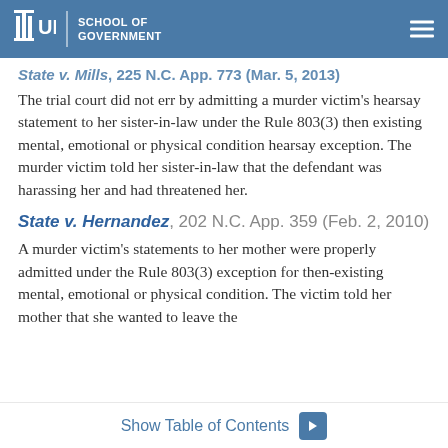UNC School of Government
State v. Mills, 225 N.C. App. 773 (Mar. 5, 2013)
The trial court did not err by admitting a murder victim's hearsay statement to her sister-in-law under the Rule 803(3) then existing mental, emotional or physical condition hearsay exception. The murder victim told her sister-in-law that the defendant was harassing her and had threatened her.
State v. Hernandez, 202 N.C. App. 359 (Feb. 2, 2010)
A murder victim's statements to her mother were properly admitted under the Rule 803(3) exception for then-existing mental, emotional or physical condition. The victim told her mother that she wanted to leave the
Show Table of Contents